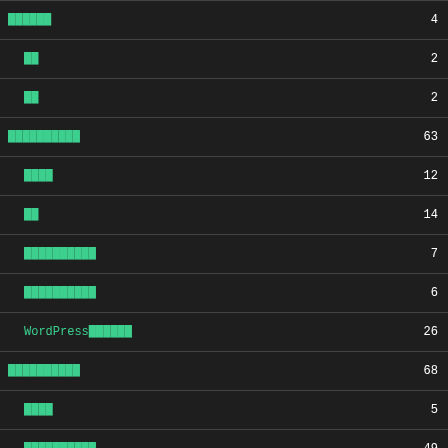| Category | Count |
| --- | --- |
| ██████ | 4 |
| 　██ | 2 |
| 　██ | 2 |
| ██████████ | 63 |
| 　████ | 12 |
| 　██ | 14 |
| 　██████████ | 7 |
| 　██████████ | 6 |
| 　WordPress██████ | 26 |
| ██████████ | 68 |
| 　████ | 5 |
| 　██████████ | 49 |